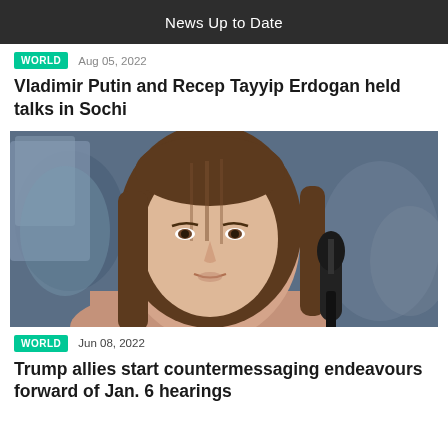News Up to Date
WORLD   Aug 05, 2022
Vladimir Putin and Recep Tayyip Erdogan held talks in Sochi
[Figure (photo): A woman with long brown hair speaking into a black microphone, photographed close-up, with a blurred background showing blue tones and other people.]
WORLD   Jun 08, 2022
Trump allies start countermessaging endeavours forward of Jan. 6 hearings